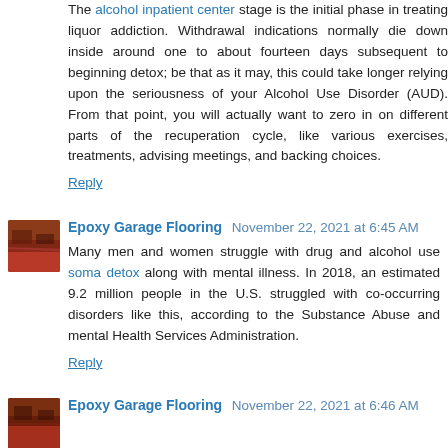The alcohol inpatient center stage is the initial phase in treating liquor addiction. Withdrawal indications normally die down inside around one to about fourteen days subsequent to beginning detox; be that as it may, this could take longer relying upon the seriousness of your Alcohol Use Disorder (AUD). From that point, you will actually want to zero in on different parts of the recuperation cycle, like various exercises, treatments, advising meetings, and backing choices.
Reply
Epoxy Garage Flooring  November 22, 2021 at 6:45 AM
Many men and women struggle with drug and alcohol use soma detox along with mental illness. In 2018, an estimated 9.2 million people in the U.S. struggled with co-occurring disorders like this, according to the Substance Abuse and mental Health Services Administration.
Reply
Epoxy Garage Flooring  November 22, 2021 at 6:46 AM